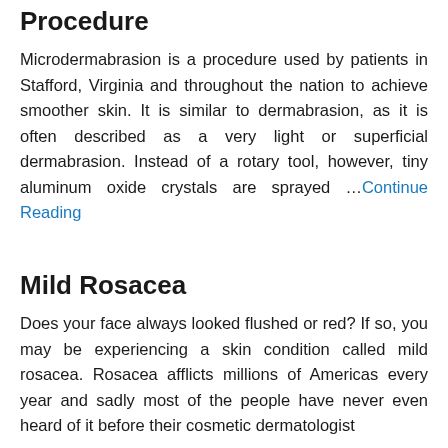Procedure
Microdermabrasion is a procedure used by patients in Stafford, Virginia and throughout the nation to achieve smoother skin. It is similar to dermabrasion, as it is often described as a very light or superficial dermabrasion. Instead of a rotary tool, however, tiny aluminum oxide crystals are sprayed …Continue Reading
Mild Rosacea
Does your face always looked flushed or red? If so, you may be experiencing a skin condition called mild rosacea. Rosacea afflicts millions of Americas every year and sadly most of the people have never even heard of it before their cosmetic dermatologist